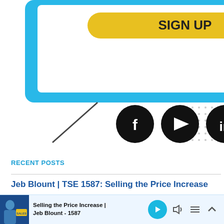[Figure (illustration): Partial view of a blue monitor/email signup graphic with a yellow 'SIGN UP' button, monitor stand legs, social media icons (Facebook, YouTube, LinkedIn, Instagram) in black circles, and a blue/navy banner at the bottom.]
RECENT POSTS
Jeb Blount | TSE 1587: Selling the Price Increase
View More →
[Figure (screenshot): Audio player bar at the bottom: thumbnail with person and 'SALES' logo, title 'Selling the Price Increase | Jeb Blount - 1587', play button, volume, playlist, and collapse icons.]